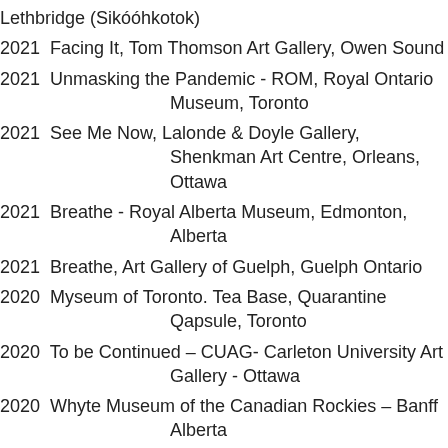Lethbridge (Sikóóhkotok)
2021 Facing It, Tom Thomson Art Gallery, Owen Sound
2021 Unmasking the Pandemic - ROM, Royal Ontario Museum, Toronto
2021 See Me Now, Lalonde & Doyle Gallery, Shenkman Art Centre, Orleans, Ottawa
2021 Breathe - Royal Alberta Museum, Edmonton, Alberta
2021 Breathe, Art Gallery of Guelph, Guelph Ontario
2020 Myseum of Toronto. Tea Base, Quarantine Qapsule, Toronto
2020 To be Continued – CUAG- Carleton University Art Gallery - Ottawa
2020 Whyte Museum of the Canadian Rockies – Banff Alberta